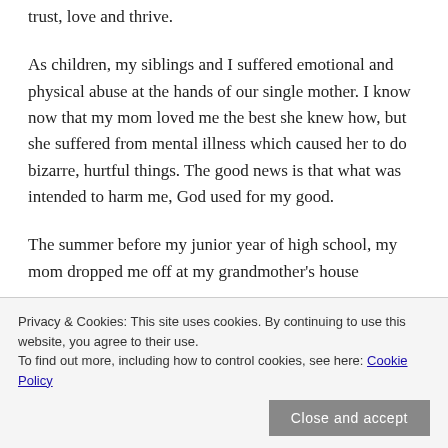trust, love and thrive.
As children, my siblings and I suffered emotional and physical abuse at the hands of our single mother. I know now that my mom loved me the best she knew how, but she suffered from mental illness which caused her to do bizarre, hurtful things. The good news is that what was intended to harm me, God used for my good.
The summer before my junior year of high school, my mom dropped me off at my grandmother's house
Privacy & Cookies: This site uses cookies. By continuing to use this website, you agree to their use.
To find out more, including how to control cookies, see here: Cookie Policy
Close and accept